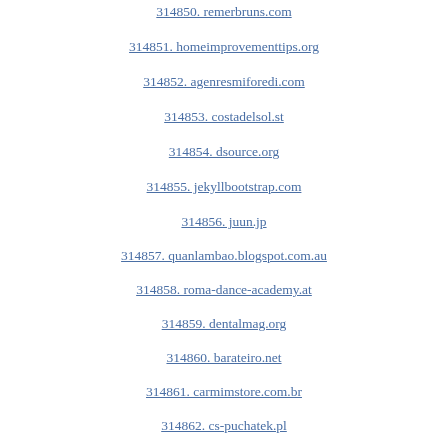314850. remerbruns.com
314851. homeimprovementtips.org
314852. agenresmiforedi.com
314853. costadelsol.st
314854. dsource.org
314855. jekyllbootstrap.com
314856. juun.jp
314857. quanlambao.blogspot.com.au
314858. roma-dance-academy.at
314859. dentalmag.org
314860. barateiro.net
314861. carmimstore.com.br
314862. cs-puchatek.pl
314863. allsearchview.blogspot.com
314864. haoix88.com